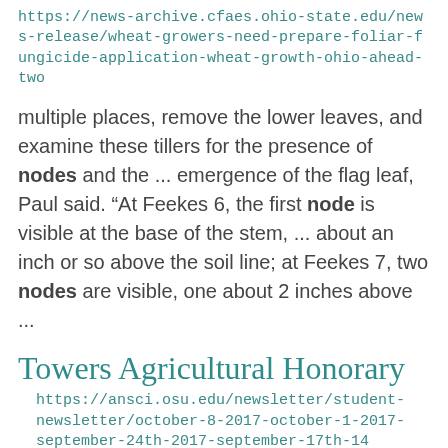https://news-archive.cfaes.ohio-state.edu/news-release/wheat-growers-need-prepare-foliar-fungicide-application-wheat-growth-ohio-ahead-two
multiple places, remove the lower leaves, and examine these tillers for the presence of nodes and the ... emergence of the flag leaf, Paul said. “At Feekes 6, the first node is visible at the base of the stem, ... about an inch or so above the soil line; at Feekes 7, two nodes are visible, one about 2 inches above ...
Towers Agricultural Honorary
https://ansci.osu.edu/newsletter/student-newsletter/october-8-2017-october-1-2017-september-24th-2017-september-17th-14